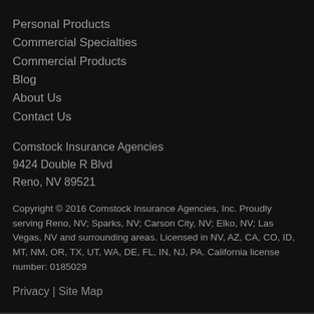Personal Products
Commercial Specialties
Commercial Products
Blog
About Us
Contact Us
Comstock Insurance Agencies
9424 Double R Blvd
Reno, NV 89521
Copyright © 2016 Comstock Insurance Agencies, Inc. Proudly serving Reno, NV; Sparks, NV; Carson City, NV; Elko, NV; Las Vegas, NV and surrounding areas. Licensed in NV, AZ, CA, CO, ID, MT, NM, OR, TX, UT, WA, DE, FL, IN, NJ, PA. California license number: 0185029
Privacy | Site Map